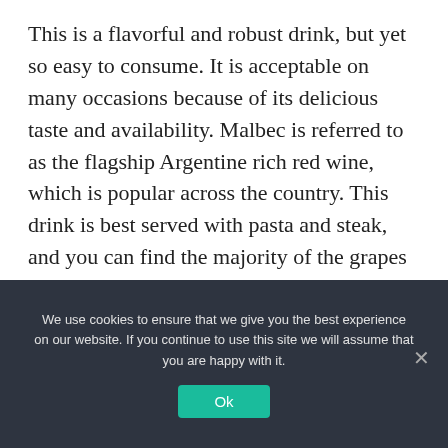This is a flavorful and robust drink, but yet so easy to consume. It is acceptable on many occasions because of its delicious taste and availability. Malbec is referred to as the flagship Argentine rich red wine, which is popular across the country. This drink is best served with pasta and steak, and you can find the majority of the grapes grown in Patagonia and other regions like Mendoza and Cafayate. Malbec is best enjoyed most during
We use cookies to ensure that we give you the best experience on our website. If you continue to use this site we will assume that you are happy with it.